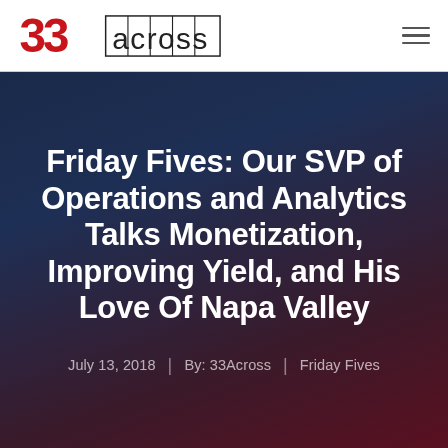33Across logo and navigation
Friday Fives: Our SVP of Operations and Analytics Talks Monetization, Improving Yield, and His Love Of Napa Valley
July 13, 2018 | By: 33Across | Friday Fives